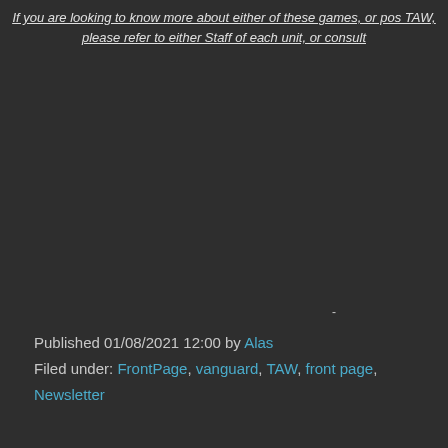If you are looking to know more about either of these games, or pos TAW, please refer to either Staff of each unit, or consult
Published 01/08/2021 12:00 by Alas
Filed under: FrontPage, vanguard, TAW, front page, Newsletter
Privacy Policy | Terms of Use | Contact Us
Graphics by Mystic Digital